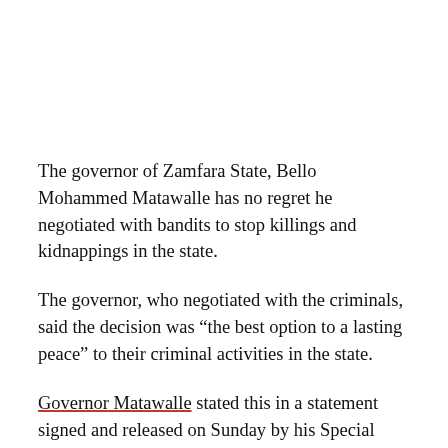The governor of Zamfara State, Bello Mohammed Matawalle has no regret he negotiated with bandits to stop killings and kidnappings in the state.
The governor, who negotiated with the criminals, said the decision was “the best option to a lasting peace” to their criminal activities in the state.
Governor Matawalle stated this in a statement signed and released on Sunday by his Special Adviser on Media, Alhaji Zailani Baffa.
Baffa quoted the governor to have said, “It is the best